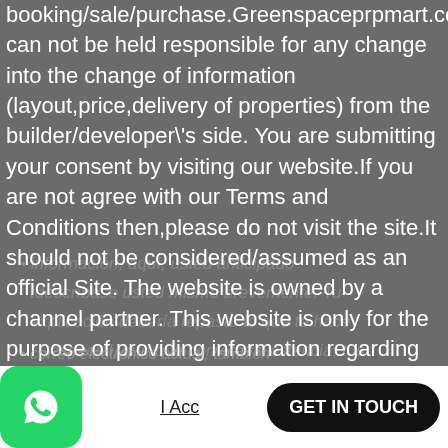booking/sale/purchase.Greenspaceprpmart.com can not be held responsible for any change into the change of information (layout,price,delivery of properties) from the builder/developer\'s side. You are submitting your consent by visiting our website.If you are not agree with our Terms and Conditions then,please do not visit the site.It should not be considered/assumed as an official Site. The website is owned by a channel partner. This website is only for the purpose of providing information regarding real estate project. By accessing this mail/website, the viewer confirms that the information including brochures and marketing collaterals on this website is solely for informational purposes and the viewer has not relied on this information for making any booking/purchase in any project of the company.
I Accept
GET IN TOUCH